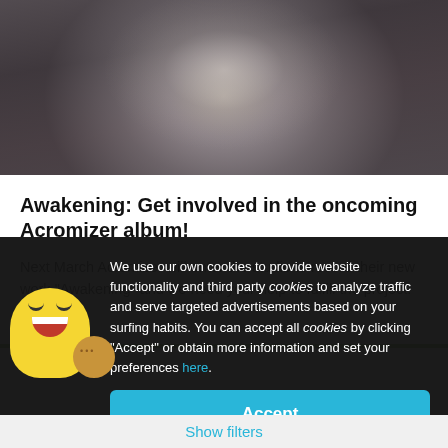[Figure (photo): Dark photo of a person holding a cat mask up to their face, wearing a blue hoodie, seated indoors]
Awakening: Get involved in the oncoming Acromizer album!
Next March Acromizer will enter the studio to record their new work "Awakening" and we need your help to fulfill the project.
Metal
We use our own cookies to provide website functionality and third party cookies to analyze traffic and serve targeted advertisements based on your surfing habits. You can accept all cookies by clicking "Accept" or obtain more information and set your preferences here.
Accept
Show filters